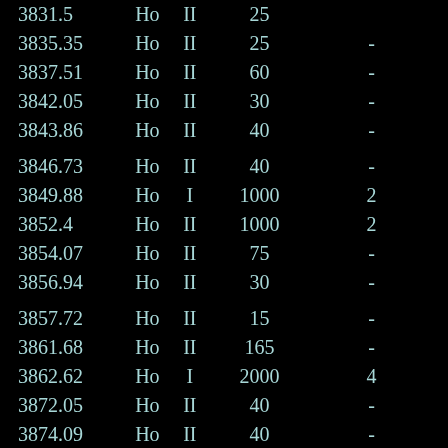| wavelength | element | ion | intensity | ref | notes |
| --- | --- | --- | --- | --- | --- |
| 3831.5 | Ho | II | 25 |  |  |
| 3835.35 | Ho | II | 25 | - |  |
| 3837.51 | Ho | II | 60 | - |  |
| 3842.05 | Ho | II | 30 | - |  |
| 3843.86 | Ho | II | 40 | - |  |
| 3846.73 | Ho | II | 40 | - |  |
| 3849.88 | Ho | I | 1000 | 2 |  |
| 3852.4 | Ho | II | 1000 | 2 |  |
| 3854.07 | Ho | II | 75 | - |  |
| 3856.94 | Ho | II | 30 | - |  |
| 3857.72 | Ho | II | 15 | - |  |
| 3861.68 | Ho | II | 165 | - |  |
| 3862.62 | Ho | I | 2000 | 4 |  |
| 3872.05 | Ho | II | 40 | - |  |
| 3874.09 | Ho | II | 40 | - |  |
| 3874.68 | Ho | II | 30 | - |  |
| 3881.61 | Ho | II | 35 | - |  |
| 3888.96 | Ho | II | 240 | 1 | 4f11 (4I° ...) |